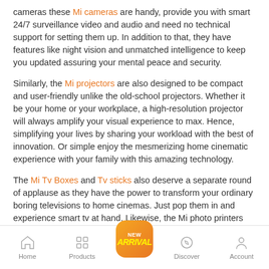cameras these Mi cameras are handy, provide you with smart 24/7 surveillance video and audio and need no technical support for setting them up. In addition to that, they have features like night vision and unmatched intelligence to keep you updated assuring your mental peace and security.
Similarly, the Mi projectors are also designed to be compact and user-friendly unlike the old-school projectors. Whether it be your home or your workplace, a high-resolution projector will always amplify your visual experience to max. Hence, simplifying your lives by sharing your workload with the best of innovation. Or simple enjoy the mesmerizing home cinematic experience with your family with this amazing technology.
The Mi Tv Boxes and Tv sticks also deserve a separate round of applause as they have the power to transform your ordinary boring televisions to home cinemas. Just pop them in and experience smart tv at hand. Likewise, the Mi photo printers have revolutionized photography in a blend of aesthetic tradition and modern technology.
[Figure (infographic): Bottom navigation bar with Home, Products, New Arrival (orange badge), Discover, and Account icons]